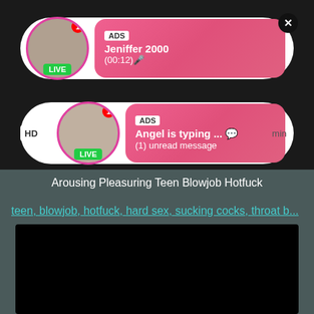[Figure (screenshot): Two ad notification cards with avatars, LIVE badges, ADS labels, and gradient pink backgrounds]
Arousing Pleasuring Teen Blowjob Hotfuck
teen, blowjob, hotfuck, hard sex, sucking cocks, throat b...
[Figure (other): Black video player area]